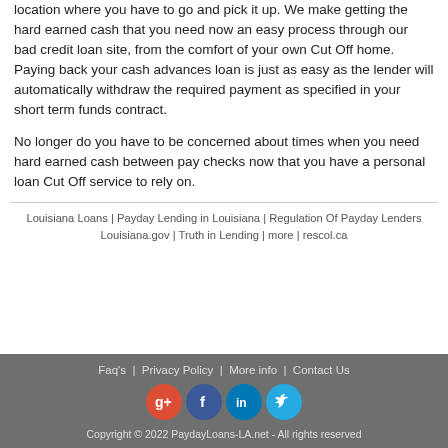... earned cash is transferred to you gets sent to another Cut Off location where you have to go and pick it up. We make getting the hard earned cash that you need now an easy process through our bad credit loan site, from the comfort of your own Cut Off home. Paying back your cash advances loan is just as easy as the lender will automatically withdraw the required payment as specified in your short term funds contract.
No longer do you have to be concerned about times when you need hard earned cash between pay checks now that you have a personal loan Cut Off service to rely on.
Louisiana Loans | Payday Lending in Louisiana | Regulation Of Payday Lenders Louisiana.gov | Truth in Lending | more | rescol.ca
Faq's | Privacy Policy | More info | Contact Us
[Figure (other): Social media icons: Google+, Facebook, LinkedIn, Twitter]
Copyright © 2022 PaydayLoans-LA.net - All rights reserved